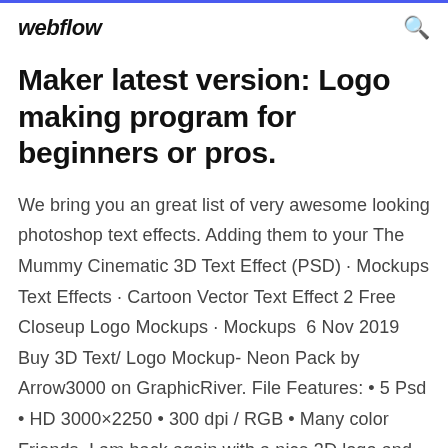webflow
Maker latest version: Logo making program for beginners or pros.
We bring you an great list of very awesome looking photoshop text effects. Adding them to your The Mummy Cinematic 3D Text Effect (PSD) · Mockups Text Effects · Cartoon Vector Text Effect 2 Free Closeup Logo Mockups · Mockups  6 Nov 2019 Buy 3D Text/ Logo Mockup- Neon Pack by Arrow3000 on GraphicRiver. File Features: • 5 Psd • HD 3000×2250 • 300 dpi / RGB • Many color Friends, I am back again with a nice 3D logo and text Read More. FREE download for 3D